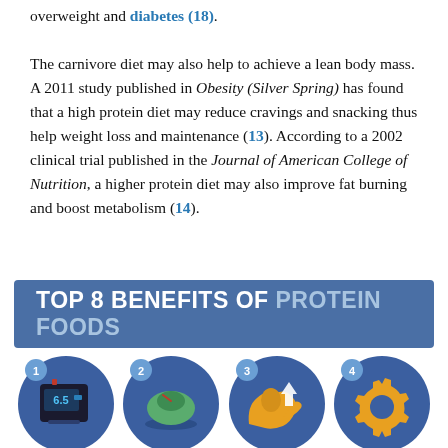overweight and diabetes (18).
The carnivore diet may also help to achieve a lean body mass. A 2011 study published in Obesity (Silver Spring) has found that a high protein diet may reduce cravings and snacking thus help weight loss and maintenance (13). According to a 2002 clinical trial published in the Journal of American College of Nutrition, a higher protein diet may also improve fat burning and boost metabolism (14).
[Figure (infographic): Banner reading TOP 8 BENEFITS OF PROTEIN FOODS with icons below numbered 1-4 showing: 1) blood glucose meter showing 6.5, 2) weighing scale, 3) flexing arm muscle with upward arrow, 4) gear/cog wheel]